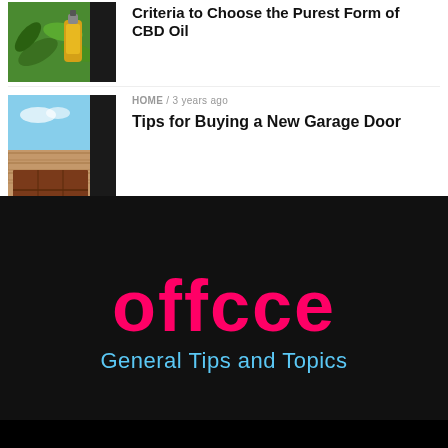[Figure (photo): Thumbnail photo of CBD oil bottle with cannabis leaves, green and yellow tones]
Criteria to Choose the Purest Form of CBD Oil
[Figure (photo): Thumbnail photo of a house with a garage door, red/brown door, brick facade, blue sky]
HOME / 3 years ago
Tips for Buying a New Garage Door
[Figure (logo): OFFCCE logo in pink/magenta on black background with subtitle 'General Tips and Topics' in light blue]